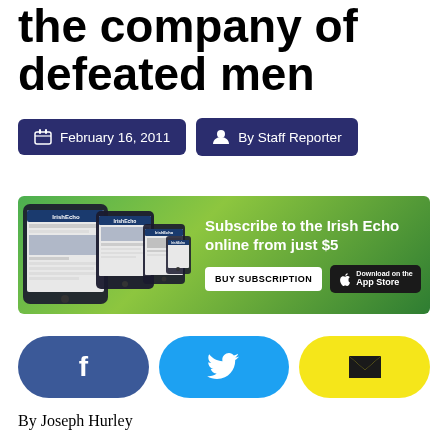the company of defeated men
February 16, 2011
By Staff Reporter
[Figure (infographic): Irish Echo subscription advertisement banner. Shows tablet and phone devices with Irish Echo newspaper digital editions. Text reads: Subscribe to the Irish Echo online from just $5. Buttons: BUY SUBSCRIPTION and Download on the App Store.]
[Figure (infographic): Social sharing buttons: Facebook (blue rounded rectangle with f), Twitter (cyan rounded rectangle with bird icon), Email (yellow rounded rectangle with envelope icon)]
By Joseph Hurley